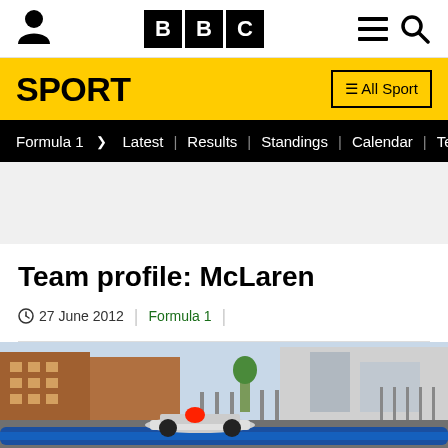BBC Sport - Formula 1 navigation header
Team profile: McLaren
27 June 2012 | Formula 1
[Figure (photo): A Formula 1 car on a street circuit with buildings and fencing visible in the background, blue barriers in the foreground.]